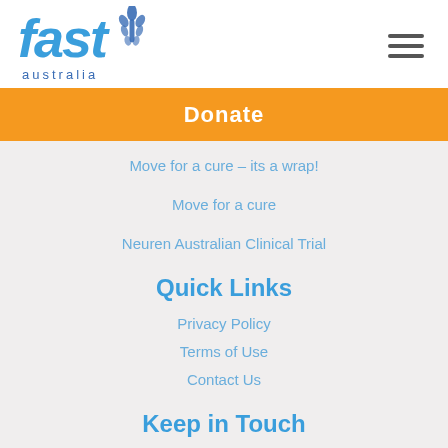fast australia
Donate
Move for a cure – its a wrap!
Move for a cure
Neuren Australian Clinical Trial
Quick Links
Privacy Policy
Terms of Use
Contact Us
Keep in Touch
PO Box 248